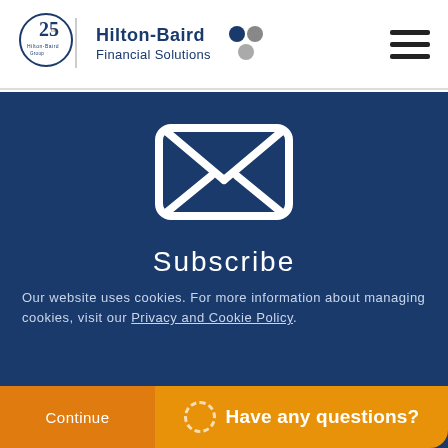Hilton-Baird Financial Solutions
[Figure (illustration): White envelope/email icon on dark blue background]
Subscribe
Our website uses cookies. For more information about managing cookies, visit our Privacy and Cookie Policy.
Continue   Have any questions?